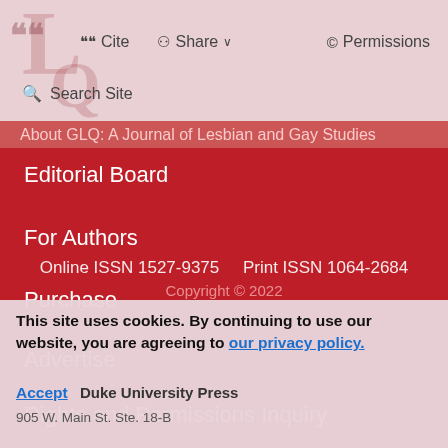Cite  Share  Permissions
Search Site
About GLQ: A Journal of Lesbian and Gay Studies
Editorial Board
For Authors
Purchase
Advertise
Rights and Permissions Inquiry
Online ISSN 1527-9375    Print ISSN 1064-2684
Copyright © 2022
This site uses cookies. By continuing to use our website, you are agreeing to our privacy policy. Accept
Duke University Press
905 W. Main St. Ste. 18-B